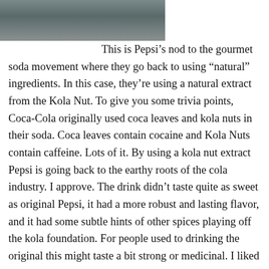[Figure (photo): Partial photo of an object, blurred/cropped, occupying the top-left area of the page.]
This is Pepsi's nod to the gourmet soda movement where they go back to using “natural” ingredients. In this case, they’re using a natural extract from the Kola Nut. To give you some trivia points, Coca-Cola originally used coca leaves and kola nuts in their soda. Coca leaves contain cocaine and Kola Nuts contain caffeine. Lots of it. By using a kola nut extract Pepsi is going back to the earthy roots of the cola industry. I approve. The drink didn’t taste quite as sweet as original Pepsi, it had a more robust and lasting flavor, and it had some subtle hints of other spices playing off the kola foundation. For people used to drinking the original this might taste a bit strong or medicinal. I liked it. I like the can too.